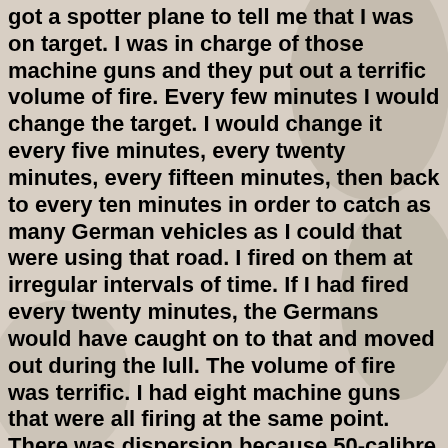got a spotter plane to tell me that I was on target. I was in charge of those machine guns and they put out a terrific volume of fire. Every few minutes I would change the target. I would change it every five minutes, every twenty minutes, every fifteen minutes, then back to every ten minutes in order to catch as many German vehicles as I could that were using that road. I fired on them at irregular intervals of time. If I had fired every twenty minutes, the Germans would have caught on to that and moved out during the lull. The volume of fire was terrific. I had eight machine guns that were all firing at the same point. There was dispersion because 50-calibre